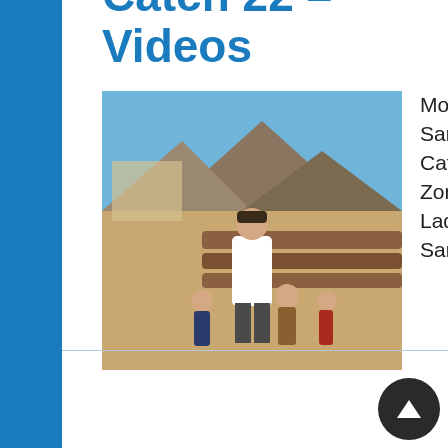Catch 22 – Videos
[Figure (photo): Outdoor photo showing a man in a white sweater standing with several children near wooden logs, with mountains and a building visible in the background. Location: San Carlos.]
Movies Filmed in San Carlos: watch Catch 22, Mask of Zorro and Lucky Lady … all filmed in San Carlos.
Read more ›